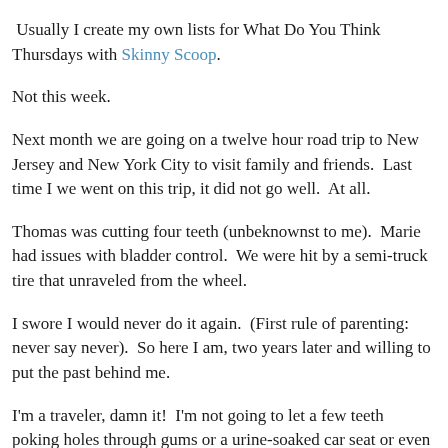Usually I create my own lists for What Do You Think Thursdays with Skinny Scoop.
Not this week.
Next month we are going on a twelve hour road trip to New Jersey and New York City to visit family and friends.  Last time I we went on this trip, it did not go well.  At all.
Thomas was cutting four teeth (unbeknownst to me).  Marie had issues with bladder control.  We were hit by a semi-truck tire that unraveled from the wheel.
I swore I would never do it again.  (First rule of parenting: never say never).  So here I am, two years later and willing to put the past behind me.
I'm a traveler, damn it!  I'm not going to let a few teeth poking holes through gums or a urine-soaked car seat or even a near death experience of a semi tire almost crashing through my windshield while driving seventy miles per hour on I80 East get in the way of